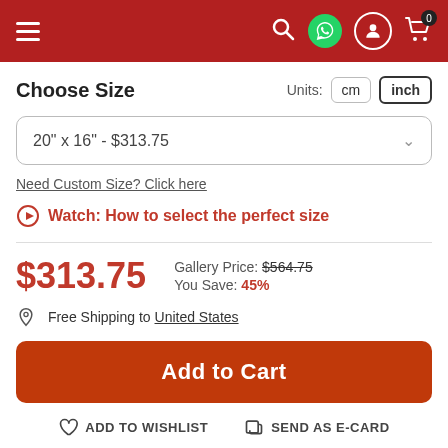Navigation header with menu, WhatsApp, user, and cart icons
Choose Size
Units: cm | inch
20" x 16" - $313.75
Need Custom Size? Click here
Watch: How to select the perfect size
$313.75
Gallery Price: $564.75
You Save: 45%
Free Shipping to United States
Add to Cart
ADD TO WISHLIST   SEND AS E-CARD